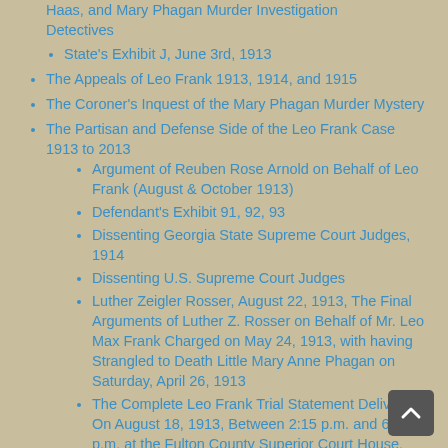Haas, and Mary Phagan Murder Investigation Detectives
State's Exhibit J, June 3rd, 1913
The Appeals of Leo Frank 1913, 1914, and 1915
The Coroner's Inquest of the Mary Phagan Murder Mystery
The Partisan and Defense Side of the Leo Frank Case 1913 to 2013
Argument of Reuben Rose Arnold on Behalf of Leo Frank (August & October 1913)
Defendant's Exhibit 91, 92, 93
Dissenting Georgia State Supreme Court Judges, 1914
Dissenting U.S. Supreme Court Judges
Luther Zeigler Rosser, August 22, 1913, The Final Arguments of Luther Z. Rosser on Behalf of Mr. Leo Max Frank Charged on May 24, 1913, with having Strangled to Death Little Mary Anne Phagan on Saturday, April 26, 1913
The Complete Leo Frank Trial Statement Delivered On August 18, 1913, Between 2:15 p.m. and 6:00 p.m. at the Fulton County Superior Court House, Atlanta, Georgia and